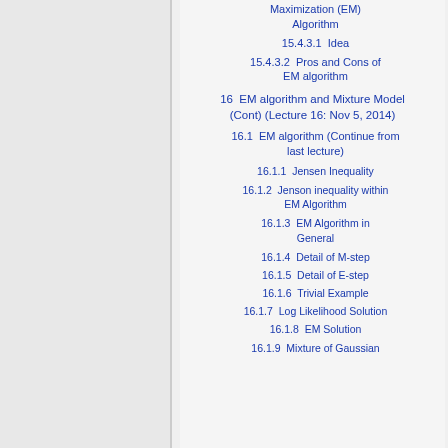Maximization (EM) Algorithm
15.4.3.1  Idea
15.4.3.2  Pros and Cons of EM algorithm
16  EM algorithm and Mixture Model (Cont) (Lecture 16: Nov 5, 2014)
16.1  EM algorithm (Continue from last lecture)
16.1.1  Jensen Inequality
16.1.2  Jenson inequality within EM Algorithm
16.1.3  EM Algorithm in General
16.1.4  Detail of M-step
16.1.5  Detail of E-step
16.1.6  Trivial Example
16.1.7  Log Likelihood Solution
16.1.8  EM Solution
16.1.9  Mixture of Gaussian